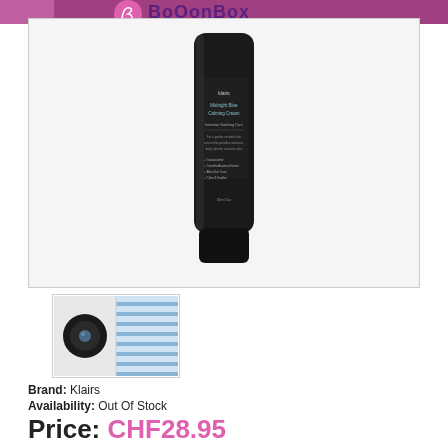BoOonBox
[Figure (photo): Dark black tube of Klairs Midnight Blue Calming Cream skincare product on white background]
[Figure (photo): Thumbnail showing cap detail and striped pattern of Klairs cream product]
Brand: Klairs
Availability: Out Of Stock
Price: CHF28.95
Notify me